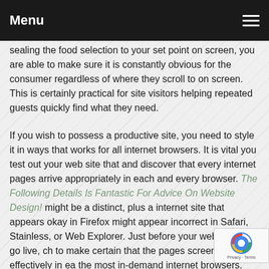Menu
sealing the food selection to your set point on screen, you are able to make sure it is constantly obvious for the consumer regardless of where they scroll to on screen. This is certainly practical for site visitors helping repeated guests quickly find what they need.
If you wish to possess a productive site, you need to style it in ways that works for all internet browsers. It is vital you test out your web site that and discover that every internet pages arrive appropriately in each and every browser. The Following Details Is Fantastic For Advice On Website Design! might be a distinct, plus a internet site that appears okay in Firefox might appear incorrect in Safari, Stainless, or Web Explorer. Just before your web site will go live, ch to make certain that the pages screen effectively in ea the most in-demand internet browsers.